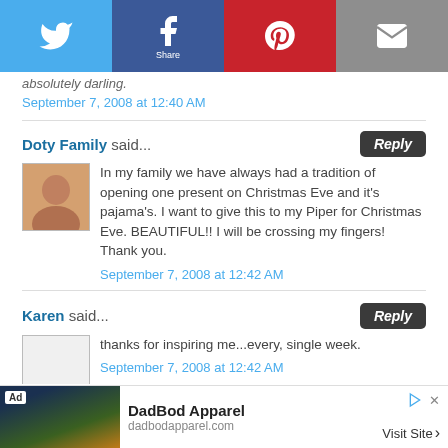[Figure (screenshot): Social sharing bar with Twitter, Facebook, Pinterest, and Email buttons]
absolutely darling.
September 7, 2008 at 12:40 AM
Doty Family said...
In my family we have always had a tradition of opening one present on Christmas Eve and it's pajama's. I want to give this to my Piper for Christmas Eve. BEAUTIFUL!! I will be crossing my fingers! Thank you.
September 7, 2008 at 12:42 AM
Karen said...
thanks for inspiring me...every, single week.
September 7, 2008 at 12:42 AM
[Figure (screenshot): Ad for DadBod Apparel at dadbodapparel.com with Visit Site button]